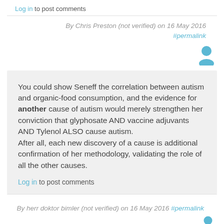Log in to post comments
By Chris Preston (not verified) on 16 May 2016 #permalink
[Figure (illustration): User avatar icon in blue]
You could show Seneff the correlation between autism and organic-food consumption, and the evidence for another cause of autism would merely strengthen her conviction that glyphosate AND vaccine adjuvants AND Tylenol ALSO cause autism.
After all, each new discovery of a cause is additional confirmation of her methodology, validating the role of all the other causes.
Log in to post comments
By herr doktor bimler (not verified) on 16 May 2016 #permalink
[Figure (illustration): User avatar icon in blue]